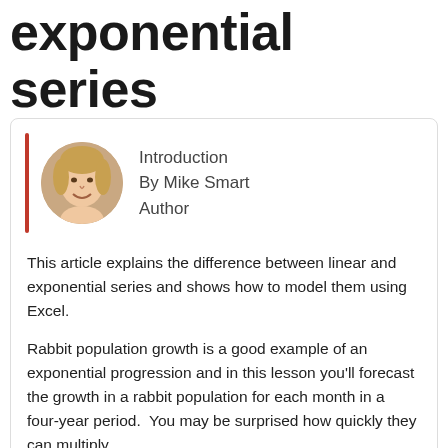exponential series
[Figure (photo): Circular headshot photo of Mike Smart, a person with light hair, smiling]
Introduction
By Mike Smart
Author
This article explains the difference between linear and exponential series and shows how to model them using Excel.
Rabbit population growth is a good example of an exponential progression and in this lesson you'll forecast the growth in a rabbit population for each month in a four-year period.  You may be surprised how quickly they can multiply.
This article is an unedited lesson from one of the 25